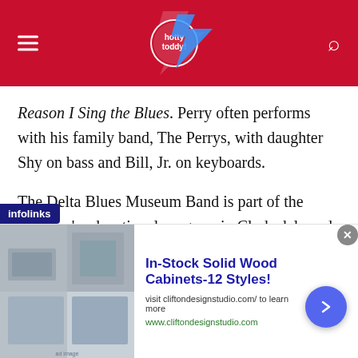hotty toddy [website header with hamburger menu and search icon]
Reason I Sing the Blues. Perry often performs with his family band, The Perrys, with daughter Shy on bass and Bill, Jr. on keyboards.
The Delta Blues Museum Band is part of the museum's educational program in Clarksdale and teaches students the art of blues music the way the old masters learned it: from musician to musician, from one generation to the next. Instructors have included Bill Perry, Bill Abel, and the renowned Musselwhite. There is no age limit on the
[Figure (screenshot): Ad banner: infolinks label, advertisement for In-Stock Solid Wood Cabinets-12 Styles! from cliftondesignstudio.com with a close button and arrow navigation button]